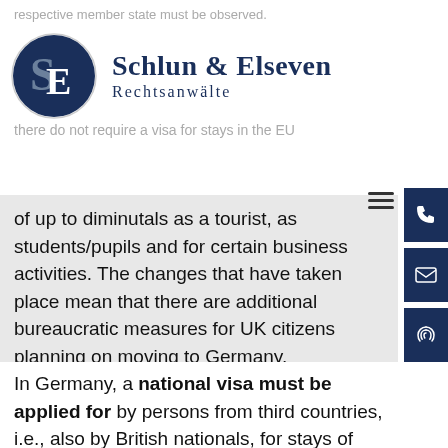respective member state must be observed.
[Figure (logo): Schlun & Elseven Rechtsanwälte logo with circular SE emblem in navy and gray]
there do not require a visa for stays in the EU of up to diminutals as a tourist, as students/pupils and for certain business activities. The changes that have taken place mean that there are additional bureaucratic measures for UK citizens planning on moving to Germany.
In Germany, a national visa must be applied for by persons from third countries, i.e., also by British nationals, for stays of more than 90 days. The specific type of visa required depends on the